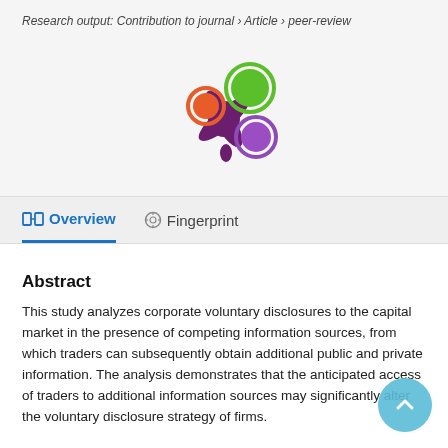Research output: Contribution to journal › Article › peer-review
[Figure (logo): Colorful asterisk/blob logo with orange, green, and purple circles on a dark purple splat shape]
Overview   Fingerprint
Abstract
This study analyzes corporate voluntary disclosures to the capital market in the presence of competing information sources, from which traders can subsequently obtain additional public and private information. The analysis demonstrates that the anticipated access of traders to additional information sources may significantly alter the voluntary disclosure strategy of firms.